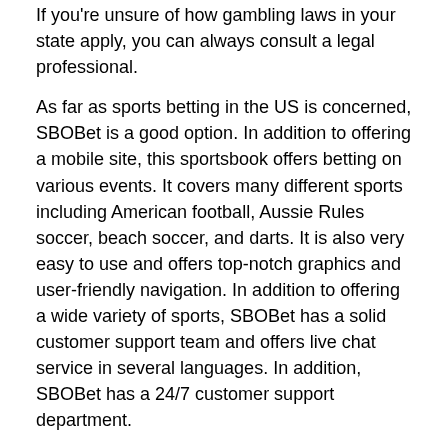If you're unsure of how gambling laws in your state apply, you can always consult a legal professional.
As far as sports betting in the US is concerned, SBOBet is a good option. In addition to offering a mobile site, this sportsbook offers betting on various events. It covers many different sports including American football, Aussie Rules soccer, beach soccer, and darts. It is also very easy to use and offers top-notch graphics and user-friendly navigation. In addition to offering a wide variety of sports, SBOBet has a solid customer support team and offers live chat service in several languages. In addition, SBOBet has a 24/7 customer support department.
SBOBet is one of the best-known sportsbooks in the world, with millions of registered members and an impressive bonus program. It offers several betting options, a tiered revenue-sharing program, and multiple languages. It also has proposition bets and financial bets. This sportsbook is available in many countries, and you can use it to place bets on a variety of events. Sign up and use a sportsbook bonus to boost your betting account.
Another popular sportsbook in Asia is SBOBet. With operations in the Philippines, the Isle of Man, and the UK, SBOBet is a great choice for punters from these countries. Its interface is user-friendly and easy to navigate, and it also offers a tiered revenue sharing program. Customers can even bet in their native languages. You can also sign up for their tiered revenue sharing program and receive customer support in multiple